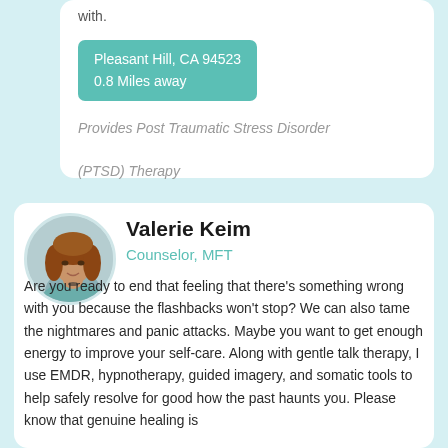with.
Pleasant Hill, CA 94523
0.8 Miles away
Provides Post Traumatic Stress Disorder (PTSD) Therapy
[Figure (photo): Circular profile photo of Valerie Keim, a woman with auburn curly hair wearing a teal top]
Valerie Keim
Counselor, MFT
Are you ready to end that feeling that there's something wrong with you because the flashbacks won't stop? We can also tame the nightmares and panic attacks. Maybe you want to get enough energy to improve your self-care. Along with gentle talk therapy, I use EMDR, hypnotherapy, guided imagery, and somatic tools to help safely resolve for good how the past haunts you. Please know that genuine healing is